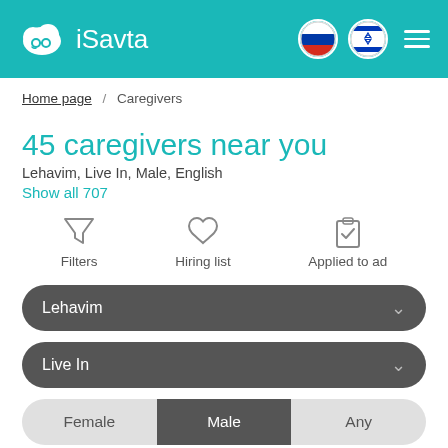iSavta
Home page / Caregivers
45 caregivers near you
Lehavim, Live In, Male, English
Show all 707
Filters
Hiring list
Applied to ad
Lehavim
Live In
Female | Male | Any